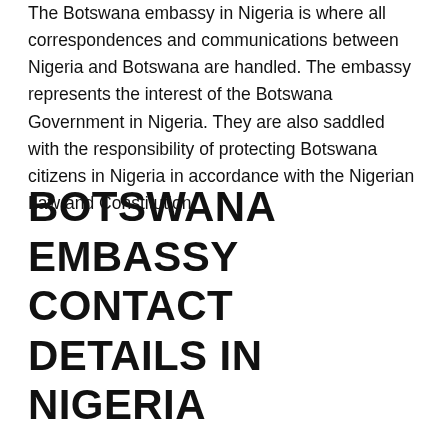The Botswana embassy in Nigeria is where all correspondences and communications between Nigeria and Botswana are handled. The embassy represents the interest of the Botswana Government in Nigeria. They are also saddled with the responsibility of protecting Botswana citizens in Nigeria in accordance with the Nigerian Law and Constitution.
BOTSWANA EMBASSY CONTACT DETAILS IN NIGERIA